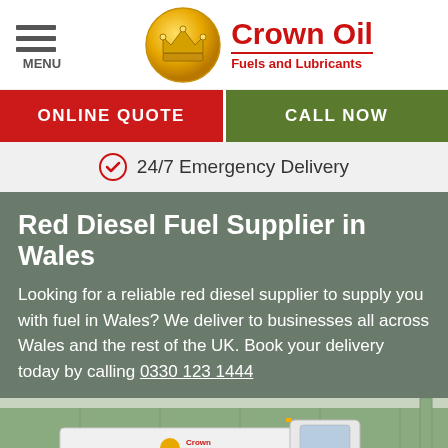MENU | Crown Oil Fuels and Lubricants
ONLINE QUOTE
CALL NOW
24/7 Emergency Delivery
Red Diesel Fuel Supplier in Wales
Looking for a reliable red diesel supplier to supply you with fuel in Wales? We deliver to businesses all across Wales and the rest of the UK. Book your delivery today by calling 0330 123 1444
[Figure (photo): White Crown Oil fuel delivery tanker truck parked in front of green industrial building]